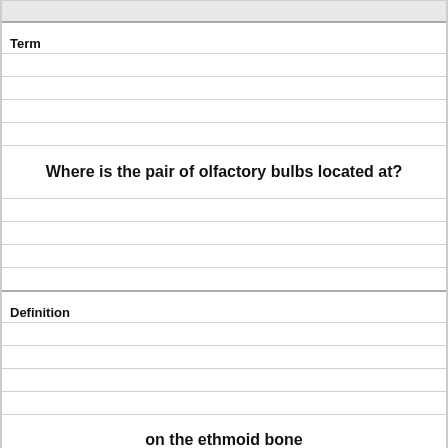Term
Where is the pair of olfactory bulbs located at?
Definition
on the ethmoid bone